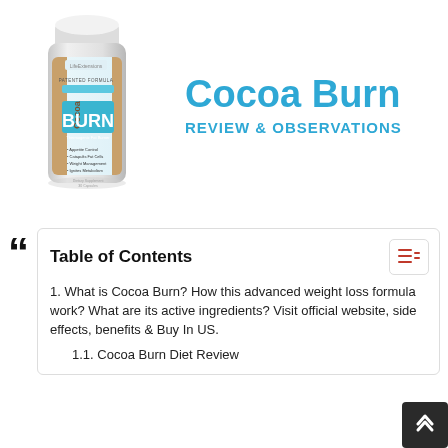[Figure (photo): Product bottle of Cocoa Burn dietary supplement with teal and beige label showing 'BURN' text and bullet points for appetite control, fat cells, weight management, ignites metabolism]
Cocoa Burn
REVIEW & OBSERVATIONS
Table of Contents
1. What is Cocoa Burn? How this advanced weight loss formula work? What are its active ingredients? Visit official website, side effects, benefits & Buy In US.
1.1. Cocoa Burn Diet Review